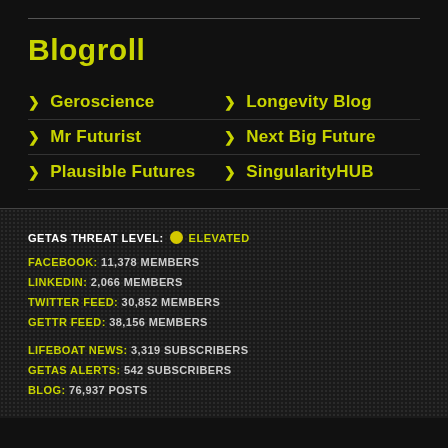Blogroll
Geroscience
Longevity Blog
Mr Futurist
Next Big Future
Plausible Futures
SingularityHUB
GETAS THREAT LEVEL: ELEVATED
FACEBOOK: 11,378 MEMBERS
LINKEDIN: 2,066 MEMBERS
TWITTER FEED: 30,852 MEMBERS
GETTR FEED: 38,156 MEMBERS
LIFEBOAT NEWS: 3,319 SUBSCRIBERS
GETAS ALERTS: 542 SUBSCRIBERS
BLOG: 76,937 POSTS